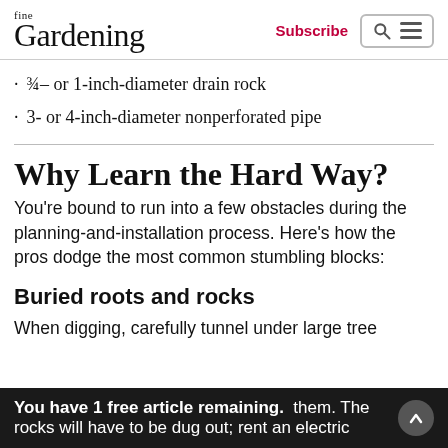fine Gardening | Subscribe
¾– or 1-inch-diameter drain rock
3- or 4-inch-diameter nonperforated pipe
Why Learn the Hard Way?
You're bound to run into a few obstacles during the planning-and-installation process. Here's how the pros dodge the most common stumbling blocks:
Buried roots and rocks
When digging, carefully tunnel under large tree roots rather than cut through them. The rocks will have to be dug out; rent an electric
You have 1 free article remaining.